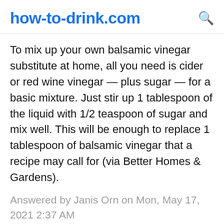how-to-drink.com
To mix up your own balsamic vinegar substitute at home, all you need is cider or red wine vinegar — plus sugar — for a basic mixture. Just stir up 1 tablespoon of the liquid with 1/2 teaspoon of sugar and mix well. This will be enough to replace 1 tablespoon of balsamic vinegar that a recipe may call for (via Better Homes & Gardens).
Answered by Janis Orn on Mon, May 17, 2021 2:37 AM
Balsamic vinegar is an Italian favorite and can be a perfect red wine vinegar substitute. With a milder, sweeter flavor, balsamic vinegar as a substitute for red wine vinegar requires you to decrease any sweetener called for in the recipe. 3